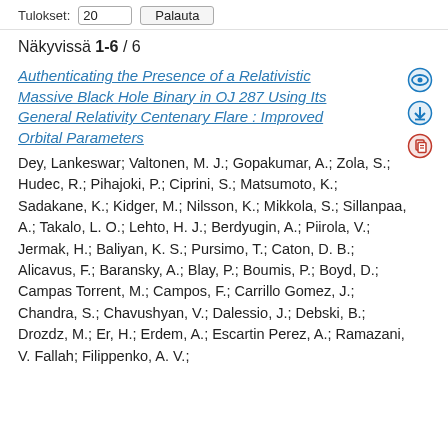Tulokset: 20 ▼  Palauta
Näkyvissä 1-6 / 6
Authenticating the Presence of a Relativistic Massive Black Hole Binary in OJ 287 Using Its General Relativity Centenary Flare : Improved Orbital Parameters
Dey, Lankeswar; Valtonen, M. J.; Gopakumar, A.; Zola, S.; Hudec, R.; Pihajoki, P.; Ciprini, S.; Matsumoto, K.; Sadakane, K.; Kidger, M.; Nilsson, K.; Mikkola, S.; Sillanpaa, A.; Takalo, L. O.; Lehto, H. J.; Berdyugin, A.; Piirola, V.; Jermak, H.; Baliyan, K. S.; Pursimo, T.; Caton, D. B.; Alicavus, F.; Baransky, A.; Blay, P.; Boumis, P.; Boyd, D.; Campas Torrent, M.; Campos, F.; Carrillo Gomez, J.; Chandra, S.; Chavushyan, V.; Dalessio, J.; Debski, B.; Drozdz, M.; Er, H.; Erdem, A.; Escartin Perez, A.; Ramazani, V. Fallah; Filippenko, A. V.;